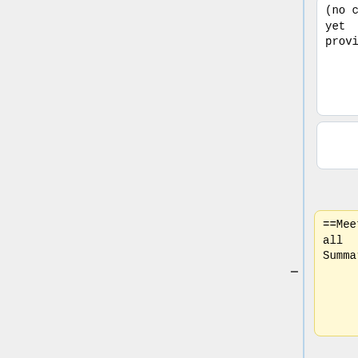(no charge yet provided)]]
(no charge yet provided)]]
==Meetings/Call Summaries==
==Recent US-SWS Meetings==
'''Approved call summaries:'''
*[[Media:05 11 2022 QIBA US SWS BC Call Summary-FINAL.pdf |